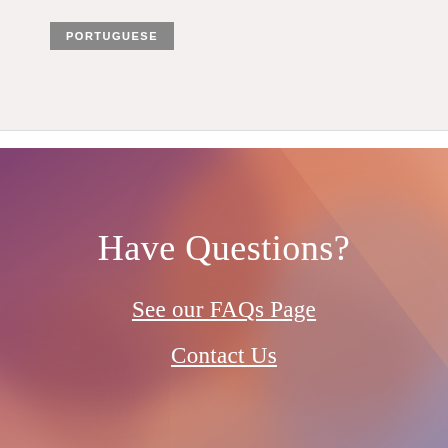PORTUGUESE
[Figure (photo): Blurred abstract background image with warm orange, pink, purple, and peach tones, resembling a close-up of skin or petals with soft diagonal lighting.]
Have Questions?
See our FAQs Page
Contact Us